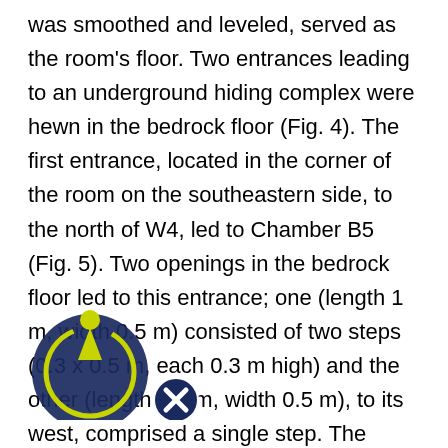was smoothed and leveled, served as the room's floor. Two entrances leading to an underground hiding complex were hewn in the bedrock floor (Fig. 4). The first entrance, located in the corner of the room on the southeastern side, to the north of W4, led to Chamber B5 (Fig. 5). Two openings in the bedrock floor led to this entrance; one (length 1 m, width 0.5 m) consisted of two steps (0.3 x 0.5 m, each 0.3 m high) and the other (length 1.1 m, width 0.5 m), to its west, comprised a single step. The second entrance was hewn in the center of the room. A step hewn inside a rectangular niche (0.5 x 0.6 m) led the opening and in the northern side of the room was a hewn circular shaft (diam. 0.8 m, depth 1.3 m). Narrow recesses (width 0.25 m) that were
[Figure (logo): Circular logo/watermark with blue and yellow-green colors overlaid on the text in the lower-left corner]